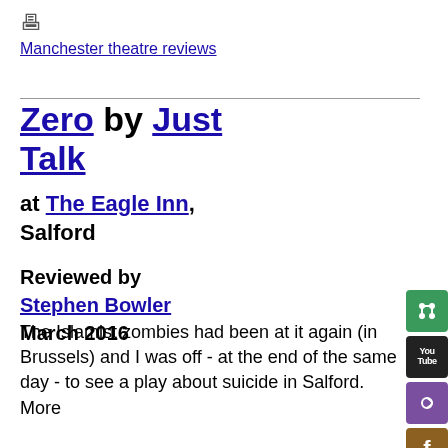Manchester theatre reviews
Zero by Just Talk
at The Eagle Inn, Salford
Reviewed by Stephen Bowler March 2016
The Islamist zombies had been at it again (in Brussels) and I was off - at the end of the same day - to see a play about suicide in Salford. More